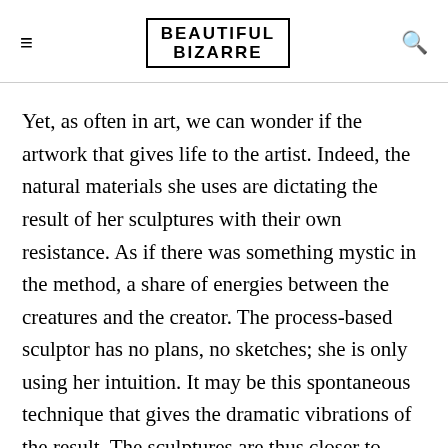BEAUTIFUL BIZARRE
Yet, as often in art, we can wonder if the artwork that gives life to the artist. Indeed, the natural materials she uses are dictating the result of her sculptures with their own resistance. As if there was something mystic in the method, a share of energies between the creatures and the creator. The process-based sculptor has no plans, no sketches; she is only using her intuition. It may be this spontaneous technique that gives the dramatic vibrations of the result. The sculptures are thus closer to